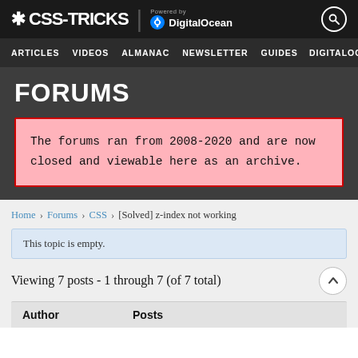* CSS-TRICKS | Powered by DigitalOcean
ARTICLES  VIDEOS  ALMANAC  NEWSLETTER  GUIDES  DIGITALOC
FORUMS
The forums ran from 2008-2020 and are now closed and viewable here as an archive.
Home › Forums › CSS › [Solved] z-index not working
This topic is empty.
Viewing 7 posts - 1 through 7 (of 7 total)
| Author | Posts |
| --- | --- |